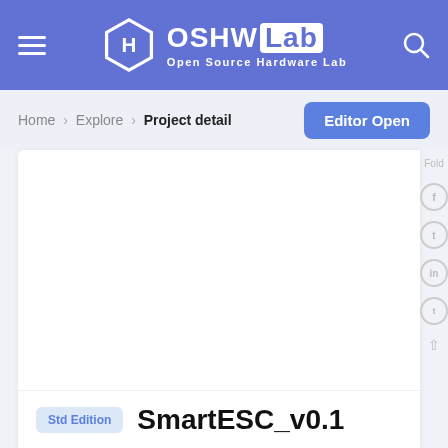OSHW Lab – Open Source Hardware Lab
Home > Explore > Project detail
Editor Open
[Figure (screenshot): White blank project detail content area with right sidebar showing social share icons (Facebook, Twitter, LinkedIn) and a fold/collapse control]
Std Edition   SmartESC_v0.1